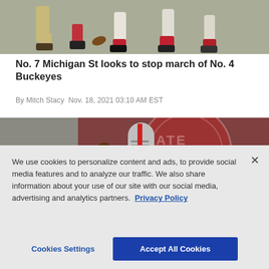[Figure (photo): Football players scrambling for a ball on the field, showing legs and cleats, red and white uniforms visible]
No. 7 Michigan St looks to stop march of No. 4 Buckeyes
By Mitch Stacy Nov. 18, 2021 03:10 AM EST
[Figure (photo): Ohio State football player in gray helmet reaching for a pass in front of a dark red Michigan State logo background]
We use cookies to personalize content and ads, to provide social media features and to analyze our traffic. We also share information about your use of our site with our social media, advertising and analytics partners. Privacy Policy
Cookies Settings | Accept All Cookies